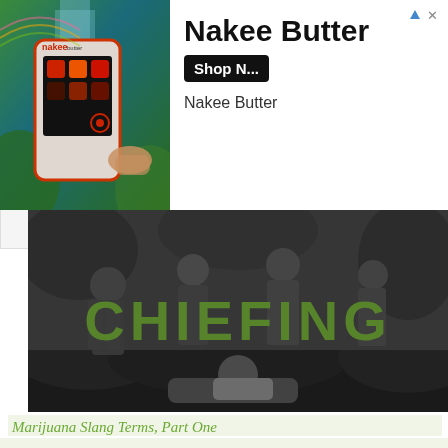[Figure (screenshot): Advertisement banner for Nakee Butter showing a phone with app icons and a hand holding it against a nature background, with 'Nakee Butter' brand name, 'Shop N...' button, and 'Nakee Butter' subtitle]
[Figure (photo): Black and white historical photo of four men in Victorian-era clothing lounging outdoors, with large green text 'CHIEFING' overlaid on top]
Marijuana Slang Terms, Part One
Pack a bowl, roll a joint and prepare your mind for some Mary Jane related slang. We here at Slang keep a healthy relationship with all herbs and with all the recent news about cannabis legalization, we thought we would explore the vernacular. Now you can finally